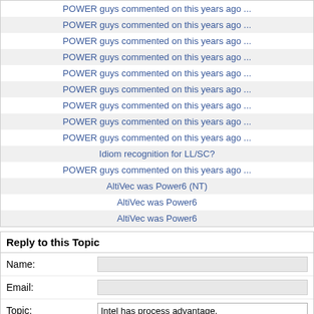POWER guys commented on this years ago ...
POWER guys commented on this years ago ...
POWER guys commented on this years ago ...
POWER guys commented on this years ago ...
POWER guys commented on this years ago ...
POWER guys commented on this years ago ...
POWER guys commented on this years ago ...
POWER guys commented on this years ago ...
Idiom recognition for LL/SC?
POWER guys commented on this years ago ...
AltiVec was Power6 (NT)
AltiVec was Power6
AltiVec was Power6
Reply to this Topic
Name:
Email:
Topic: Intel has process advantage.
Body: No Text